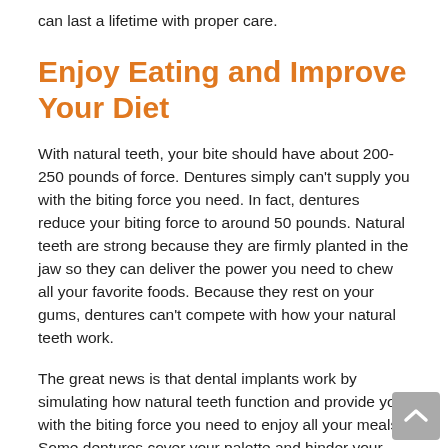can last a lifetime with proper care.
Enjoy Eating and Improve Your Diet
With natural teeth, your bite should have about 200-250 pounds of force. Dentures simply can't supply you with the biting force you need. In fact, dentures reduce your biting force to around 50 pounds. Natural teeth are strong because they are firmly planted in the jaw so they can deliver the power you need to chew all your favorite foods. Because they rest on your gums, dentures can't compete with how your natural teeth work.
The great news is that dental implants work by simulating how natural teeth function and provide you with the biting force you need to enjoy all your meals. Some dentures cover your palette and hinder your